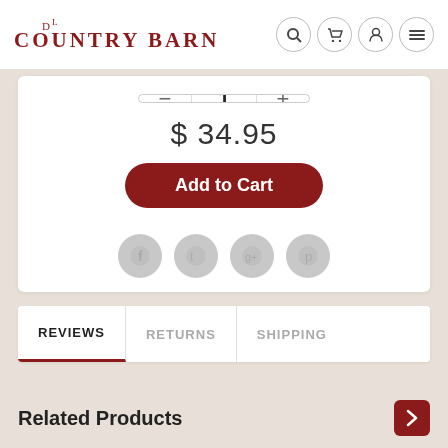[Figure (logo): Country Barn logo with DL monogram above, serif uppercase red text]
[Figure (screenshot): Header navigation icons: search, cart, user, menu]
1
$ 34.95
Add to Cart
[Figure (infographic): Four grey social media icons: Facebook, Twitter, Google+, Pinterest]
REVIEWS   RETURNS   SHIPPING
Related Products